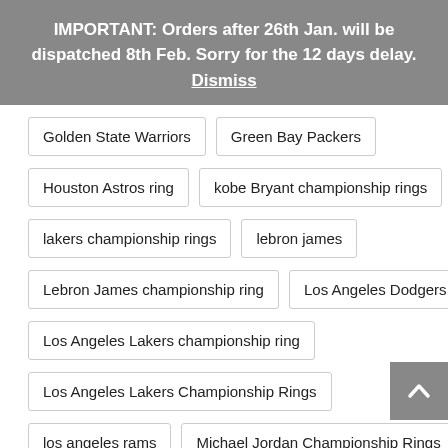IMPORTANT: Orders after 26th Jan. will be dispatched 8th Feb. Sorry for the 12 days delay. Dismiss
Golden State Warriors
Green Bay Packers
Houston Astros ring
kobe Bryant championship rings
lakers championship rings
lebron james
Lebron James championship ring
Los Angeles Dodgers
Los Angeles Lakers championship ring
Los Angeles Lakers Championship Rings
los angeles rams
Michael Jordan Championship Rings
Mlb
Mlb Ring
nba championship ring